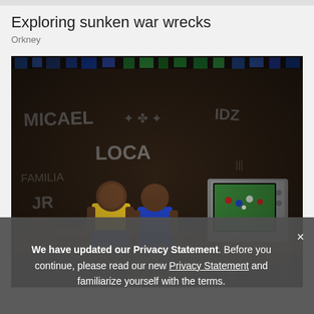Exploring sunken war wrecks
Orkney
[Figure (photo): Two children in yellow and blue football kits sitting on a bench watching an old CRT television showing a football match, inside a bare concrete block room with graffiti on the walls and colorful streamers along the top edge.]
We have updated our Privacy Statement. Before you continue, please read our new Privacy Statement and familiarize yourself with the terms.